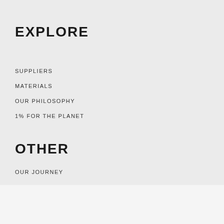EXPLORE
SUPPLIERS
MATERIALS
OUR PHILOSOPHY
1% FOR THE PLANET
OTHER
OUR JOURNEY